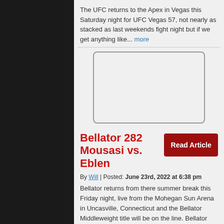The UFC returns to the Apex in Vegas this Saturday night for UFC Vegas 57, not nearly as stacked as last weekends fight night but if we get anything like... more
[Figure (other): Empty white rounded rectangle placeholder box (advertisement or image placeholder)]
Bellator 282 Mousasi vs. Eblen
By Will | Posted: June 23rd, 2022 at 6:38 pm
Bellator returns from there summer break this Friday night, live from the Mohegan Sun Arena in Uncasville, Connecticut and the Bellator Middleweight title will be on the line. Bellator 282... more